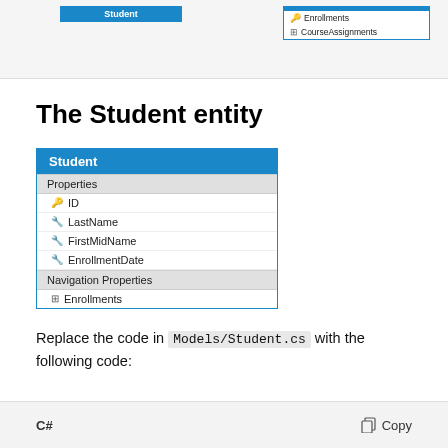[Figure (engineering-diagram): Top strip showing two entity diagram boxes: left box labeled 'Student', right box showing navigation properties 'Enrollments' and 'CourseAssignments']
The Student entity
[Figure (engineering-diagram): Entity diagram box for 'Student' showing Properties section with fields: ID (key), LastName (wrench), FirstMidName (wrench), EnrollmentDate (wrench); and Navigation Properties section with Enrollments]
Replace the code in Models/Student.cs with the following code:
[Figure (screenshot): Bottom code block bar showing 'C#' language label on left and 'Copy' button on right]